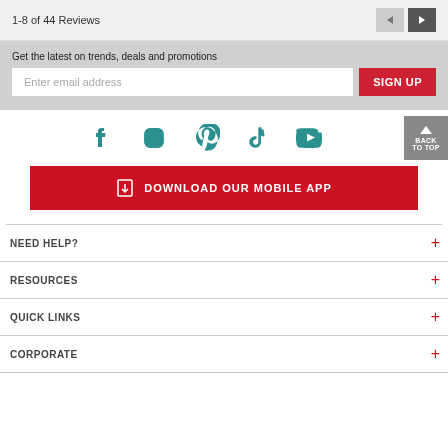1-8 of 44 Reviews
Get the latest on trends, deals and promotions
Enter email address
SIGN UP
[Figure (illustration): Social media icons row: Facebook, Instagram, Pinterest, TikTok, YouTube in teal color]
DOWNLOAD OUR MOBILE APP
NEED HELP?
RESOURCES
QUICK LINKS
CORPORATE